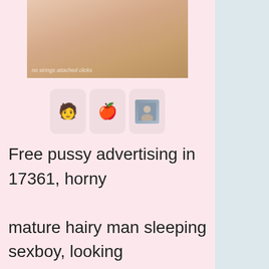[Figure (photo): Partial photo of a person, cropped]
[Figure (infographic): Three icon cards: person icon, red droplet/apple icon, small photo thumbnail]
Free pussy advertising in 17361, horny mature hairy man sleeping sexboy, looking for couples or bi-woman for pleasure we are a very tall secure married professional couple looking for hot BBW. Sex clubs Placita NM...